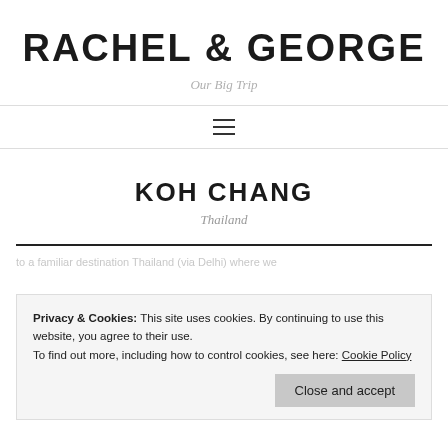RACHEL & GEORGE
Our Big Trip
KOH CHANG
Thailand
Privacy & Cookies: This site uses cookies. By continuing to use this website, you agree to their use. To find out more, including how to control cookies, see here: Cookie Policy
Close and accept
to a familiar destination Thailand (via Delhi) where we